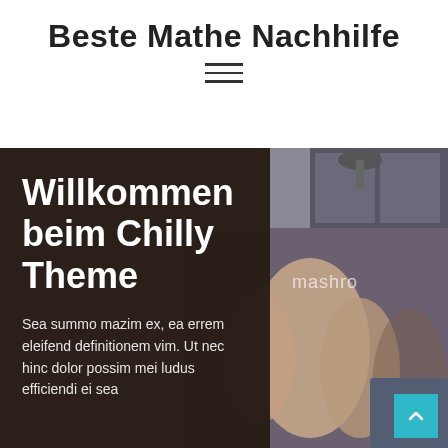Beste Mathe Nachhilfe
[Figure (illustration): Hamburger menu icon with three horizontal lines]
[Figure (photo): Background photo of people giving high five in an office setting with dark brown overlay on the left side containing text]
Willkommen beim Chilly Theme
Sea summo mazim ex, ea errem eleifend definitionem vim. Ut nec hinc dolor possim mei ludus efficiendi ei sea